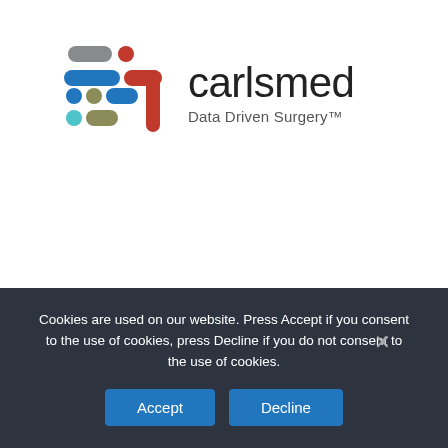[Figure (logo): Carlsmed logo: colorful pill/dot shapes on the left (blue, red/orange, olive, teal) forming an abstract cross/bar pattern, with 'carlsmed' in large light text and 'Data Driven Surgery™' tagline to the right]
Cookies are used on our website. Press Accept if you consent to the use of cookies, press Decline if you do not consent to the use of cookies.